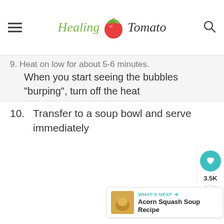Healing Tomato
9. Heat on low for about 5-6 minutes. When you start seeing the bubbles “burping”, turn off the heat
10. Transfer to a soup bowl and serve immediately